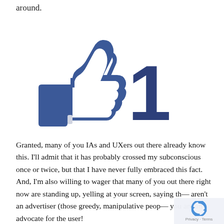around.
[Figure (illustration): Facebook-style thumbs up 'Like' icon in dark blue and white, with a large bold number '1' to its right, also in dark blue.]
Granted, many of you IAs and UXers out there already know this. I'll admit that it has probably crossed my subconscious once or twice, but that I have never fully embraced this fact. And, I'm also willing to wager that many of you out there right now are standing up, yelling at your screen, saying th— aren't an advertiser (those greedy, manipulative peop— you are an advocate for the user!